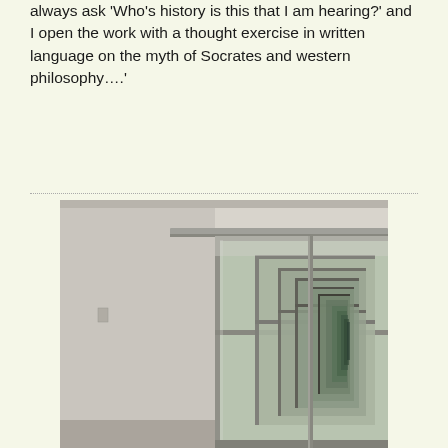always ask 'Who's history is this that I am hearing?' and I open the work with a thought exercise in written language on the myth of Socrates and western philosophy….'
[Figure (photo): A photograph of an interior hallway or room with mirrored sliding doors creating an infinite recursive reflection effect. The image is in muted grayscale/sepia tones. The left side shows a plain wall with a small panel or switch, and the right side shows a large mirrored wardrobe or door panel reflecting itself repeatedly into the distance.]